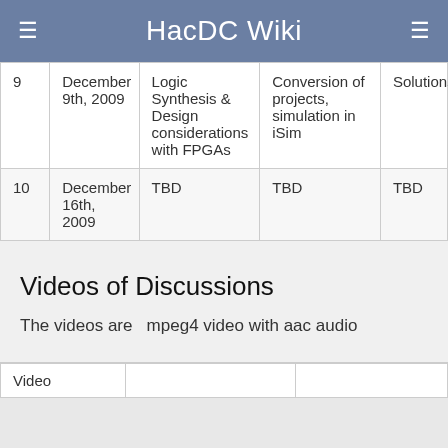HacDC Wiki
| 9 | December 9th, 2009 | Logic Synthesis & Design considerations with FPGAs | Conversion of projects, simulation in iSim | Solutions |
| 10 | December 16th, 2009 | TBD | TBD | TBD |
Videos of Discussions
The videos are  mpeg4 video with aac audio
| Video |  |
| --- | --- |